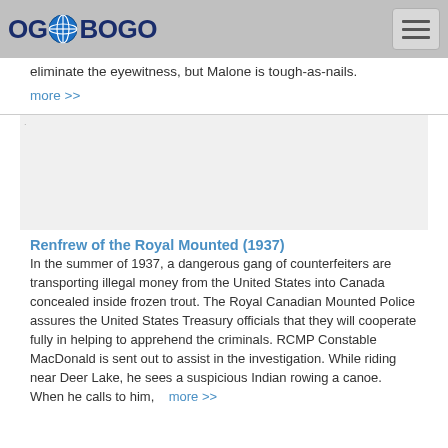OGoBOGO
eliminate the eyewitness, but Malone is tough-as-nails.
more >>
[Figure (other): Advertisement area (blank/gray rectangle)]
Renfrew of the Royal Mounted (1937)
In the summer of 1937, a dangerous gang of counterfeiters are transporting illegal money from the United States into Canada concealed inside frozen trout. The Royal Canadian Mounted Police assures the United States Treasury officials that they will cooperate fully in helping to apprehend the criminals. RCMP Constable MacDonald is sent out to assist in the investigation. While riding near Deer Lake, he sees a suspicious Indian rowing a canoe. When he calls to him,
more >>